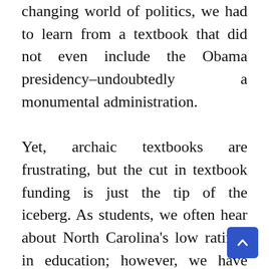changing world of politics, we had to learn from a textbook that did not even include the Obama presidency–undoubtedly a monumental administration.

Yet, archaic textbooks are frustrating, but the cut in textbook funding is just the tip of the iceberg. As students, we often hear about North Carolina's low ratings in education; however, we have become complacent. We are complacent with crowded schools. We are complacent with ever-growing class sizes. We are complacent with textbooks that are older than us. If